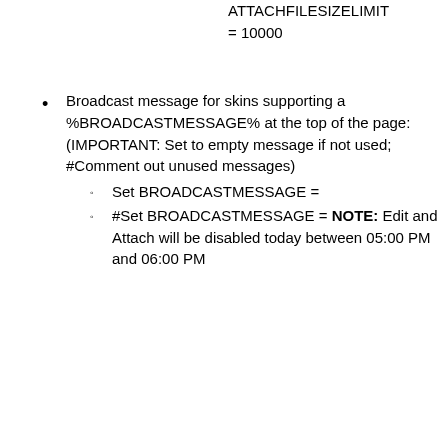ATTACHFILESIZELIMIT = 10000
Broadcast message for skins supporting a %BROADCASTMESSAGE% at the top of the page: (IMPORTANT: Set to empty message if not used; #Comment out unused messages)
Set BROADCASTMESSAGE =
#Set BROADCASTMESSAGE = NOTE: Edit and Attach will be disabled today between 05:00 PM and 06:00 PM